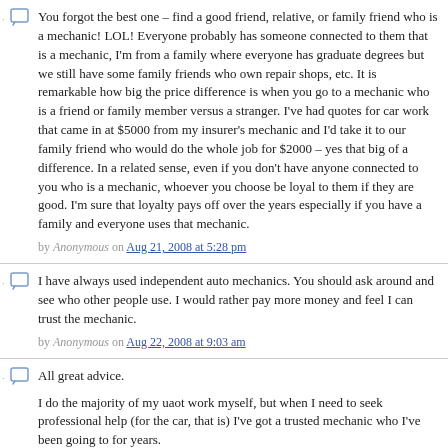You forgot the best one – find a good friend, relative, or family friend who is a mechanic! LOL! Everyone probably has someone connected to them that is a mechanic, I'm from a family where everyone has graduate degrees but we still have some family friends who own repair shops, etc. It is remarkable how big the price difference is when you go to a mechanic who is a friend or family member versus a stranger. I've had quotes for car work that came in at $5000 from my insurer's mechanic and I'd take it to our family friend who would do the whole job for $2000 – yes that big of a difference. In a related sense, even if you don't have anyone connected to you who is a mechanic, whoever you choose be loyal to them if they are good. I'm sure that loyalty pays off over the years especially if you have a family and everyone uses that mechanic.
by Anonymous on Aug 21, 2008 at 5:28 pm
I have always used independent auto mechanics. You should ask around and see who other people use. I would rather pay more money and feel I can trust the mechanic.
by Anonymous on Aug 22, 2008 at 9:03 am
All great advice.
I do the majority of my uaot work myself, but when I need to seek professional help (for the car, that is) I've got a trusted mechanic who I've been going to for years.
One thing I always look for in a mechanic is whether he or she is willing to